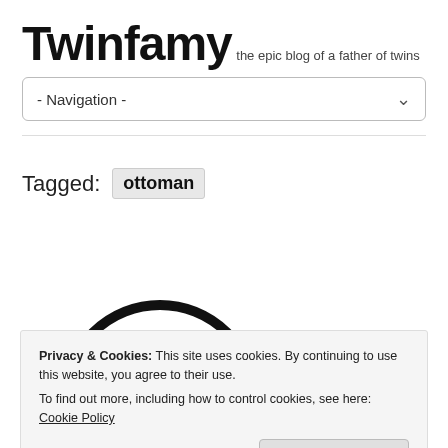Twinfamy
the epic blog of a father of twins
- Navigation -
Tagged: ottoman
[Figure (illustration): Partial circular arc illustration, black outline of a circle, top half visible]
Privacy & Cookies: This site uses cookies. By continuing to use this website, you agree to their use.
To find out more, including how to control cookies, see here: Cookie Policy
Close and accept